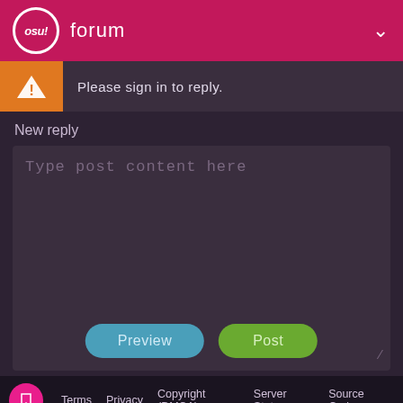osu! forum
Please sign in to reply.
New reply
Type post content here
Preview  Post
Terms  Privacy  Copyright (DMCA)  Server Status  Source Code  ppy powered 2007-2022
20 / 49